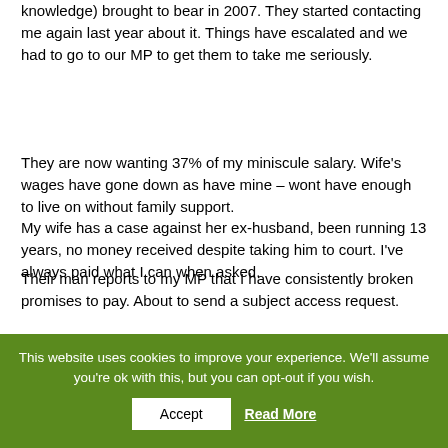knowledge) brought to bear in 2007. They started contacting me again last year about it. Things have escalated and we had to go to our MP to get them to take me seriously.
They are now wanting 37% of my miniscule salary. Wife's wages have gone down as have mine – wont have enough to live on without family support. My wife has a case against her ex-husband, been running 13 years, no money received despite taking him to court. I've always paid what I can when asked.
Their man reports to my MP that I have consistently broken promises to pay. About to send a subject access request.
Have always done my best to do as asked, feel pretty miserable. They've never helped my wife and now they are persecuting me despite the fact I've always paid when asked.
They say they have to recover 'arrears' (which accrued
This website uses cookies to improve your experience. We'll assume you're ok with this, but you can opt-out if you wish.